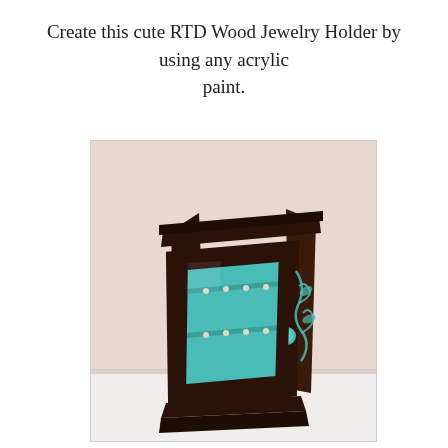Create this cute RTD Wood Jewelry Holder by using any acrylic paint.
[Figure (photo): A dark wood jewelry holder cabinet with a glass front door, teal/turquoise painted interior with small pegs/hooks for hanging jewelry, and a teal round knob. The cabinet has decorative floral/swirl painting on the right side. It is shown on a white surface against a light pink/beige wall background.]